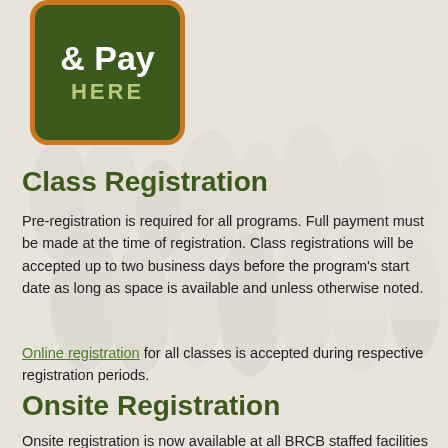[Figure (logo): Dark green rounded rectangle button with orange border. Text reads '& Pay' in large white bold font and 'HERE' in olive/yellow-green bold capital letters below.]
Class Registration
Pre-registration is required for all programs. Full payment must be made at the time of registration. Class registrations will be accepted up to two business days before the program's start date as long as space is available and unless otherwise noted.
Online registration for all classes is accepted during respective registration periods.
Onsite Registration
Onsite registration is now available at all BRCB staffed facilities